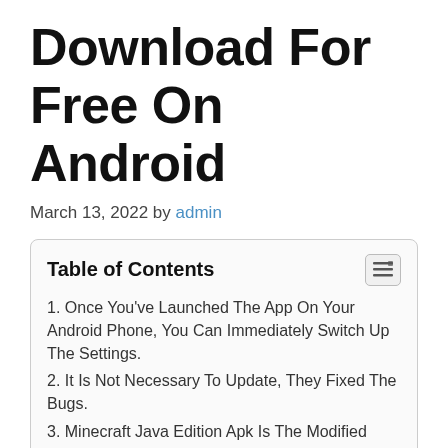Download For Free On Android
March 13, 2022 by admin
Table of Contents
1. Once You've Launched The App On Your Android Phone, You Can Immediately Switch Up The Settings.
2. It Is Not Necessary To Update, They Fixed The Bugs.
3. Minecraft Java Edition Apk Is The Modified Version Of Original Gameplay.
4. However, The Gamers May Experience Trouble Installing The Gameplay.